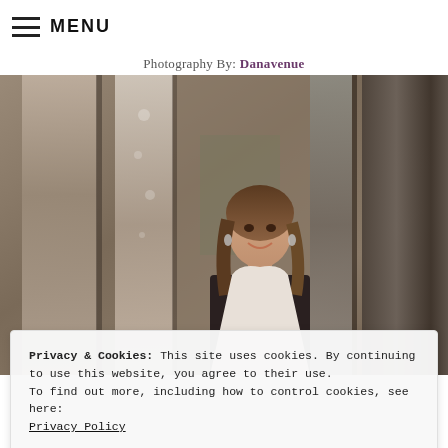≡ MENU
Photography By: Danavenue
[Figure (photo): Professional headshot of a woman with long brown hair, smiling, standing in front of architectural metal columns]
Privacy & Cookies: This site uses cookies. By continuing to use this website, you agree to their use.
To find out more, including how to control cookies, see here:
Privacy Policy
Close and accept